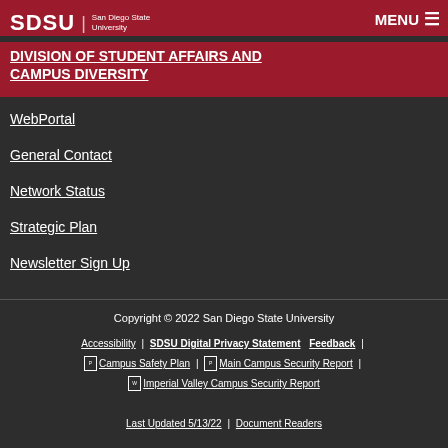SDSU | San Diego State University
DIVISION OF STUDENT AFFAIRS AND CAMPUS DIVERSITY
WebPortal
General Contact
Network Status
Strategic Plan
Newsletter Sign Up
Copyright © 2022 San Diego State University | Accessibility | SDSU Digital Privacy Statement | Feedback | Campus Safety Plan | Main Campus Security Report | Imperial Valley Campus Security Report | Last Updated 5/13/22 | Document Readers